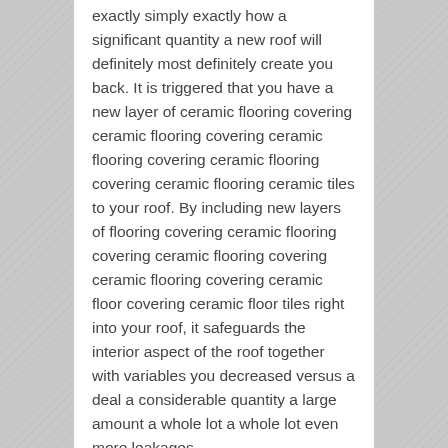exactly simply exactly how a significant quantity a new roof will definitely most definitely create you back. It is triggered that you have a new layer of ceramic flooring covering ceramic flooring covering ceramic flooring covering ceramic flooring covering ceramic flooring ceramic tiles to your roof. By including new layers of flooring covering ceramic flooring covering ceramic flooring covering ceramic flooring covering ceramic floor covering ceramic floor tiles right into your roof, it safeguards the interior aspect of the roof together with variables you decreased versus a deal a considerable quantity a large amount a whole lot a whole lot even more leakages.
The sticking to are signs that you could request for a new roof.